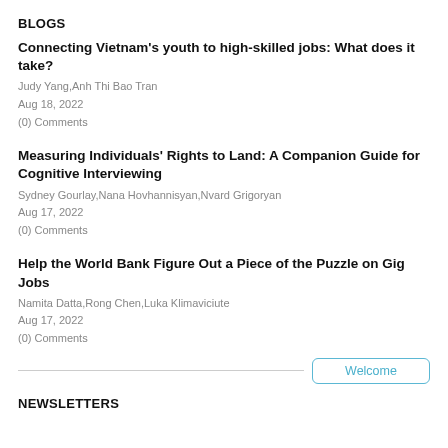BLOGS
Connecting Vietnam’s youth to high-skilled jobs: What does it take?
Judy Yang,Anh Thi Bao Tran
Aug 18, 2022
(0) Comments
Measuring Individuals’ Rights to Land: A Companion Guide for Cognitive Interviewing
Sydney Gourlay,Nana Hovhannisyan,Nvard Grigoryan
Aug 17, 2022
(0) Comments
Help the World Bank Figure Out a Piece of the Puzzle on Gig Jobs
Namita Datta,Rong Chen,Luka Klimaviciute
Aug 17, 2022
(0) Comments
NEWSLETTERS